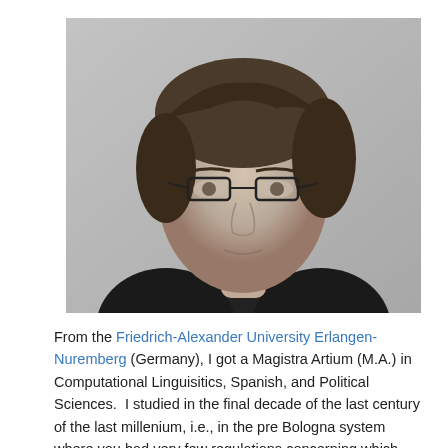[Figure (photo): Black and white headshot portrait of a person with short hair and glasses, wearing a dark jacket, against a light textured background.]
From the Friedrich-Alexander University Erlangen-Nuremberg (Germany), I got a Magistra Artium (M.A.) in Computational Linguisitics, Spanish, and Political Sciences.  I studied in the final decade of the last century of the last millenium, i.e., in the pre Bologna system where you had very few regulations concerning which